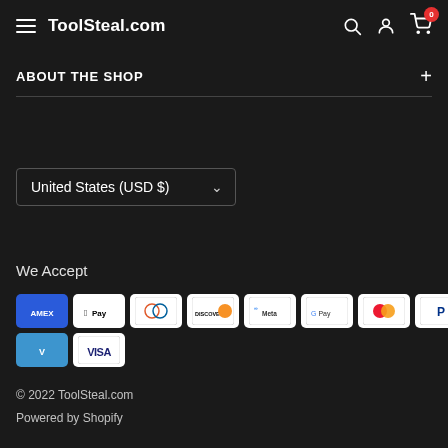ToolSteal.com
ABOUT THE SHOP
United States (USD $)
We Accept
[Figure (screenshot): Payment method icons: Amex, Apple Pay, Diners Club, Discover, Meta Pay, Google Pay, Mastercard, PayPal, OPay, Venmo, Visa]
© 2022 ToolSteal.com
Powered by Shopify